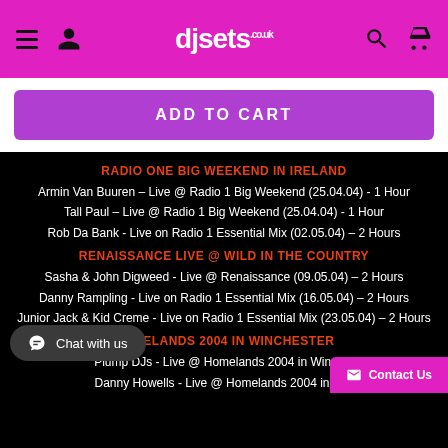djsets.co.uk
ADD TO CART
RADIO ONE BIG WEEKEND IN IRELAND
Armin Van Buuren – Live @ Radio 1 Big Weekend (25.04.04) - 1 Hour
Tall Paul – Live @ Radio 1 Big Weekend (25.04.04) - 1 Hour
Rob Da Bank - Live on Radio 1 Essential Mix (02.05.04) – 2 Hours
RENAISSANCE LIVE @ WILD IN THE COUNTRY
Sasha & John Digweed - Live @ Renaissance (09.05.04) – 2 Hours
Danny Rampling - Live on Radio 1 Essential Mix (16.05.04) – 2 Hours
Junior Jack & Kid Creme - Live on Radio 1 Essential Mix (23.05.04) – 2 Hours
HOMELANDS 2004 IN WINCHESTER
Plump DJs - Live @ Homelands 2004 in Winch...
Danny Howells - Live @ Homelands 2004 in W...